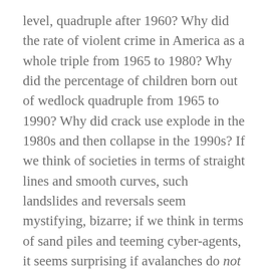level, quadruple after 1960? Why did the rate of violent crime in America as a whole triple from 1965 to 1980? Why did the percentage of children born out of wedlock quadruple from 1965 to 1990? Why did crack use explode in the 1980s and then collapse in the 1990s? If we think of societies in terms of straight lines and smooth curves, such landslides and reversals seem mystifying, bizarre; if we think in terms of sand piles and teeming cyber-agents, it seems surprising if avalanches do not happen.
Washington, D.C., is a place deeply committed to linearity. Want to cut crime in half? Then double the number of cops or the length of prison sentences. That is how both Washington and the